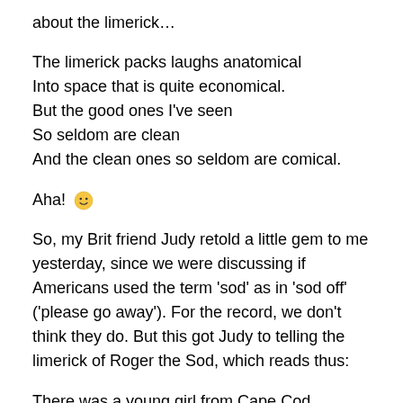about the limerick…
The limerick packs laughs anatomical
Into space that is quite economical.
But the good ones I've seen
So seldom are clean
And the clean ones so seldom are comical.
Aha! 🙂
So, my Brit friend Judy retold a little gem to me yesterday, since we were discussing if Americans used the term 'sod' as in 'sod off' ('please go away'). For the record, we don't think they do. But this got Judy to telling the limerick of Roger the Sod, which reads thus:
There was a young girl from Cape Cod
Who prayed for a baby to God